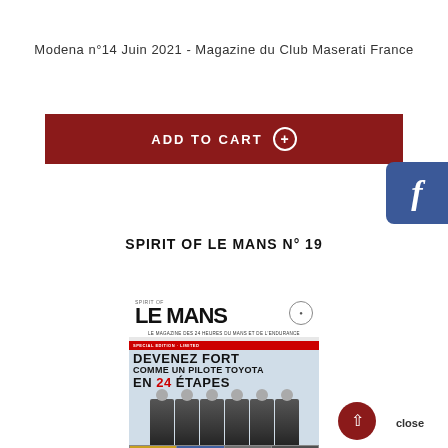Modena n°14 Juin 2021 - Magazine du Club Maserati France
SPIRIT OF LE MANS N° 19
[Figure (photo): Cover of Spirit of Le Mans N°19 magazine showing Toyota racing drivers and the headline 'Devenez fort comme un pilote Toyota en 24 étapes']